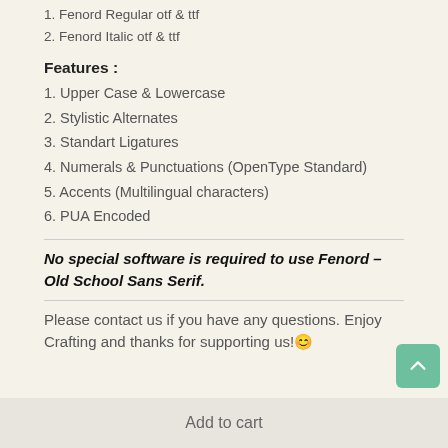1. Fenord Regular otf & ttf
2. Fenord Italic otf & ttf
Features :
1. Upper Case & Lowercase
2. Stylistic Alternates
3. Standart Ligatures
4. Numerals & Punctuations (OpenType Standard)
5. Accents (Multilingual characters)
6. PUA Encoded
No special software is required to use Fenord – Old School Sans Serif.
Please contact us if you have any questions. Enjoy Crafting and thanks for supporting us!🙂
Add to cart